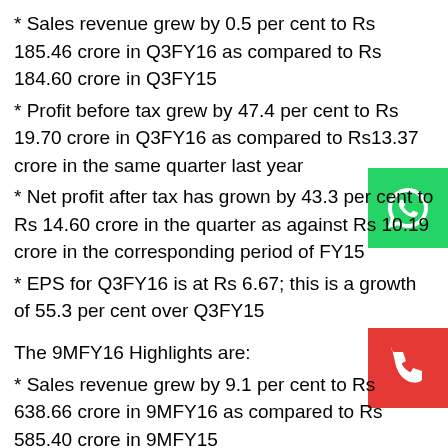* Sales revenue grew by 0.5 per cent to Rs 185.46 crore in Q3FY16 as compared to Rs 184.60 crore in Q3FY15
* Profit before tax grew by 47.4 per cent to Rs 19.70 crore in Q3FY16 as compared to Rs13.37 crore in the same quarter last year
* Net profit after tax has grown by 43.3 per cent to Rs 14.60 crore in the quarter as against Rs 10.19 crore in the corresponding period of FY15
* EPS for Q3FY16 is at Rs 6.67; this is a growth of 55.3 per cent over Q3FY15
The 9MFY16 Highlights are:
* Sales revenue grew by 9.1 per cent to Rs 638.66 crore in 9MFY16 as compared to Rs 585.40 crore in 9MFY15
* Profit before tax grew by 44 per cent to Rs 62.79 crore in 9MFY16 as compared to Rs 43.60 crore in the same quarter last year